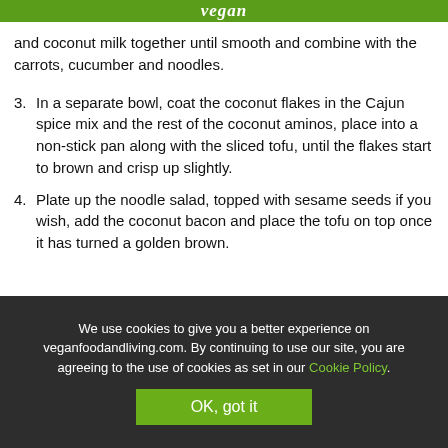vegan
and coconut milk together until smooth and combine with the carrots, cucumber and noodles.
3. In a separate bowl, coat the coconut flakes in the Cajun spice mix and the rest of the coconut aminos, place into a non-stick pan along with the sliced tofu, until the flakes start to brown and crisp up slightly.
4. Plate up the noodle salad, topped with sesame seeds if you wish, add the coconut bacon and place the tofu on top once it has turned a golden brown.
We use cookies to give you a better experience on veganfoodandliving.com. By continuing to use our site, you are agreeing to the use of cookies as set in our Cookie Policy.
OK, got it